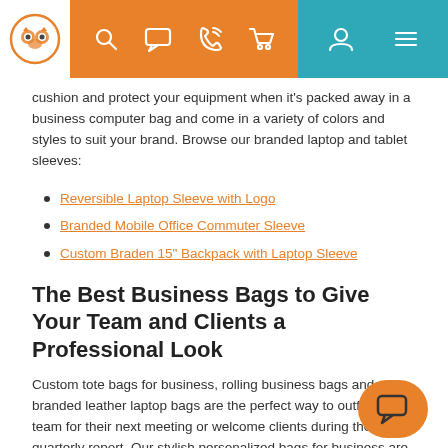Navigation bar with logo, search, chat, phone, cart, user, and menu icons
cushion and protect your equipment when it's packed away in a business computer bag and come in a variety of colors and styles to suit your brand. Browse our branded laptop and tablet sleeves:
Reversible Laptop Sleeve with Logo
Branded Mobile Office Commuter Sleeve
Custom Braden 15" Backpack with Laptop Sleeve
The Best Business Bags to Give Your Team and Clients a Professional Look
Custom tote bags for business, rolling business bags and branded leather laptop bags are the perfect way to outfit your team for their next meeting or welcome clients during the quarterly report. Our stylish personalized bags for business are designed for the modern office. Multiple pockets that are fully-lined and padded are a highlight of the most sought-after bags for business, while water-resistant material gives the business tote bags an extra layer of safety.